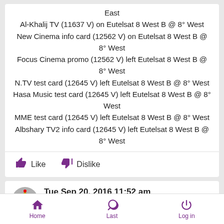East
Al-Khalij TV (11637 V) on Eutelsat 8 West B @ 8° West
New Cinema info card (12562 V) on Eutelsat 8 West B @ 8° West
Focus Cinema promo (12562 V) left Eutelsat 8 West B @ 8° West
N.TV test card (12645 V) left Eutelsat 8 West B @ 8° West
Hasa Music test card (12645 V) left Eutelsat 8 West B @ 8° West
MME test card (12645 V) left Eutelsat 8 West B @ 8° West
Albshary TV2 info card (12645 V) left Eutelsat 8 West B @ 8° West
Like  Dislike
Tue Sep 20, 2016 11:52 am
by titau_3540
1st Update for 19.09.2016
Kanal Disney Russia (+4h) (MTS 12153 V) on ABS-2 @ 74.9°
Home  Last  Log in